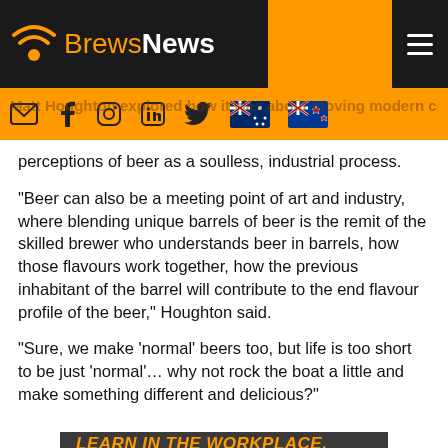BrewsNews
Matt Houghton explored how it was about moving modern craft beer away from the mainstream perceptions of beer as a soulless, industrial process.
“Beer can also be a meeting point of art and industry, where blending unique barrels of beer is the remit of the skilled brewer who understands beer in barrels, how those flavours work together, how the previous inhabitant of the barrel will contribute to the end flavour profile of the beer,” Houghton said.
“Sure, we make ‘normal’ beers too, but life is too short to be just ‘normal’… why not rock the boat a little and make something different and delicious?”
[Figure (infographic): Dark grey banner at bottom reading LEARN IN THE WORKPLACE, VICTORIA-WIDE in bold italic text, orange and white.]